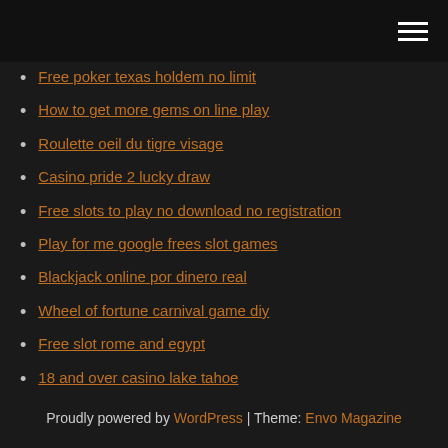[navigation bar with hamburger menu]
Free poker texas holdem no limit
How to get more gems on line play
Roulette oeil du tigre visage
Casino pride 2 lucky draw
Free slots to play no download no registration
Play for me google frees slot games
Blackjack online por dinero real
Wheel of fortune carnival game diy
Free slot rome and egypt
18 and over casino lake tahoe
Gambling near myrtle beach sc
Proudly powered by WordPress | Theme: Envo Magazine